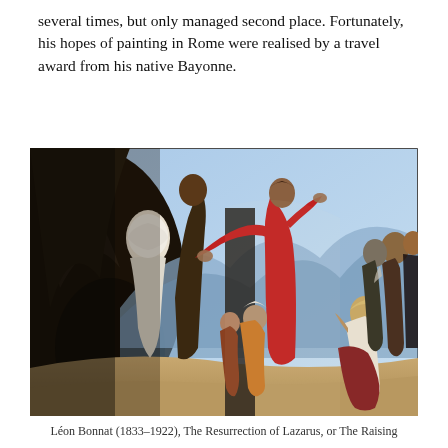several times, but only managed second place. Fortunately, his hopes of painting in Rome were realised by a travel award from his native Bayonne.
[Figure (photo): A painting depicting the Resurrection of Lazarus or The Raising of Lazarus by Léon Bonnat (1833–1922). A central figure in red robes gestures toward a white-shrouded figure emerging from a cave, surrounded by kneeling and standing onlookers in classical biblical setting.]
Léon Bonnat (1833–1922), The Resurrection of Lazarus, or The Raising